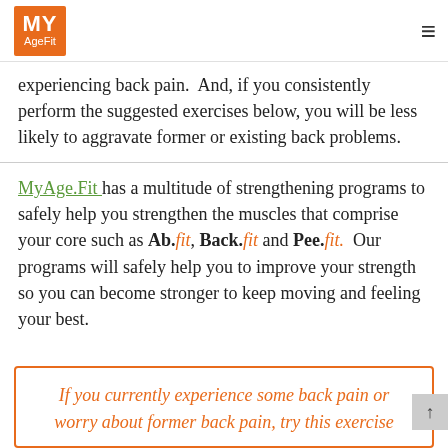MY AgeFit
experiencing back pain.  And, if you consistently perform the suggested exercises below, you will be less likely to aggravate former or existing back problems.
MyAge.Fit has a multitude of strengthening programs to safely help you strengthen the muscles that comprise your core such as Ab.fit, Back.fit and Pee.fit.  Our programs will safely help you to improve your strength so you can become stronger to keep moving and feeling your best.
If you currently experience some back pain or worry about former back pain, try this exercise